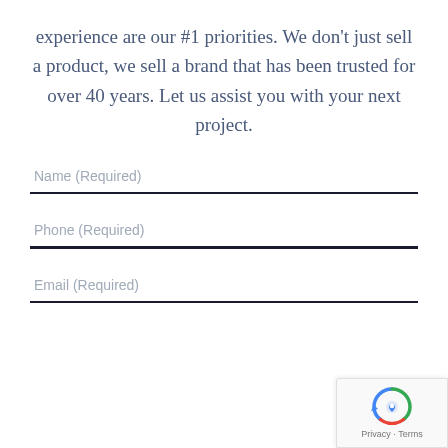experience are our #1 priorities. We don't just sell a product, we sell a brand that has been trusted for over 40 years. Let us assist you with your next project.
Name (Required)
Phone (Required)
Email (Required)